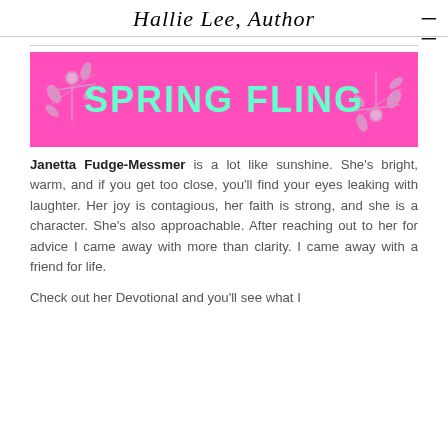Hallie Lee, Author
[Figure (illustration): Pink banner with large cyan/teal bold text reading 'SPRING FLING' and decorative snowflake/leaf illustrations on left and right sides]
Janetta Fudge-Messmer is a lot like sunshine. She's bright, warm, and if you get too close, you'll find your eyes leaking with laughter. Her joy is contagious, her faith is strong, and she is a character. She's also approachable. After reaching out to her for advice I came away with more than clarity. I came away with a friend for life.
Check out her Devotional and you'll see what I